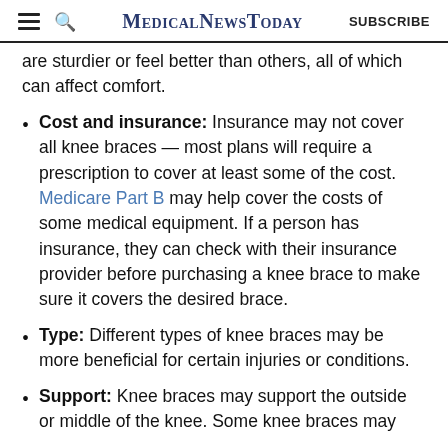MedicalNewsToday | SUBSCRIBE
are sturdier or feel better than others, all of which can affect comfort.
Cost and insurance: Insurance may not cover all knee braces — most plans will require a prescription to cover at least some of the cost. Medicare Part B may help cover the costs of some medical equipment. If a person has insurance, they can check with their insurance provider before purchasing a knee brace to make sure it covers the desired brace.
Type: Different types of knee braces may be more beneficial for certain injuries or conditions.
Support: Knee braces may support the outside or middle of the knee. Some knee braces may